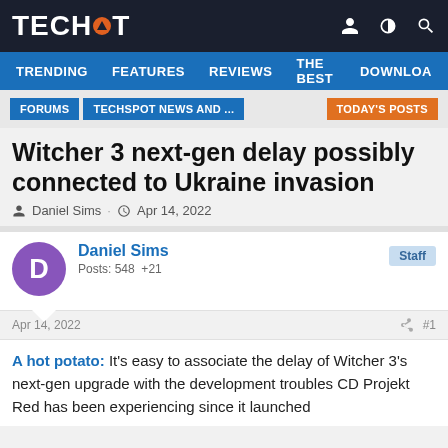TECHSPOT
TRENDING   FEATURES   REVIEWS   THE BEST   DOWNLOA
FORUMS   TECHSPOT NEWS AND ...   TODAY'S POSTS
Witcher 3 next-gen delay possibly connected to Ukraine invasion
Daniel Sims · Apr 14, 2022
Daniel Sims
Posts: 548  +21
Staff
Apr 14, 2022  #1
A hot potato: It's easy to associate the delay of Witcher 3's next-gen upgrade with the development troubles CD Projekt Red has been experiencing since it launched